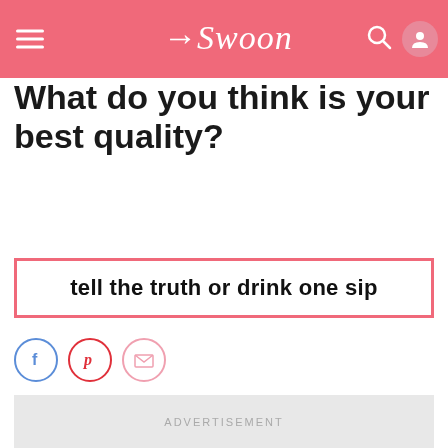Swoon
What do you think is your best quality?
tell the truth or drink one sip
[Figure (other): Social sharing icons: Facebook (blue circle), Pinterest (red circle), Email (pink circle)]
ADVERTISEMENT